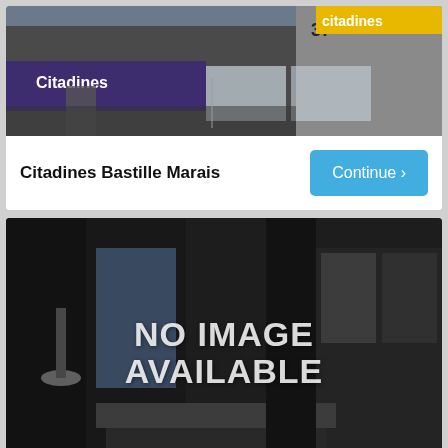[Figure (photo): Exterior photo of Citadines Bastille Marais hotel showing storefront with Citadines signage]
Citadines Bastille Marais
Continue >
[Figure (photo): Hotel room interior with dark decor, with 'NO IMAGE AVAILABLE' text overlay]
Citadines Tour Eiffel Paris
Continue >
[Figure (photo): Partial view of a building with geometric golden/striped architectural elements]